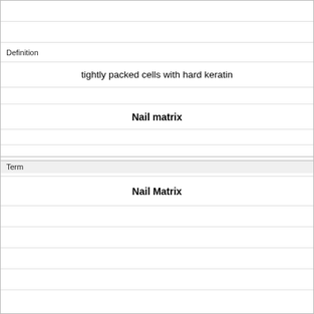| Definition |
| --- |
| tightly packed cells with hard keratin |
| Nail matrix |
|  |
|  |
|  |
|  |
|  |
| Term |
| --- |
| Nail Matrix |
|  |
|  |
|  |
|  |